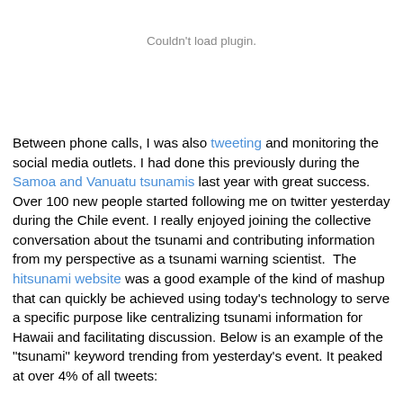Couldn't load plugin.
Between phone calls, I was also tweeting and monitoring the social media outlets. I had done this previously during the Samoa and Vanuatu tsunamis last year with great success. Over 100 new people started following me on twitter yesterday during the Chile event. I really enjoyed joining the collective conversation about the tsunami and contributing information from my perspective as a tsunami warning scientist.  The hitsunami website was a good example of the kind of mashup that can quickly be achieved using today's technology to serve a specific purpose like centralizing tsunami information for Hawaii and facilitating discussion. Below is an example of the "tsunami" keyword trending from yesterday's event. It peaked at over 4% of all tweets: